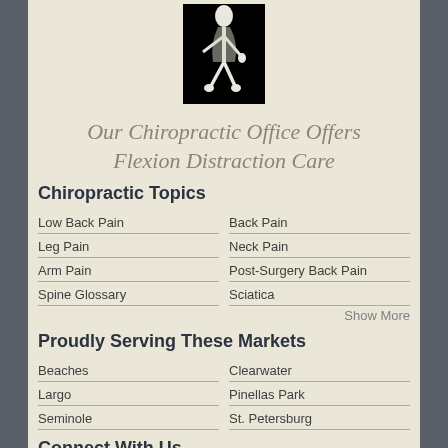[Figure (illustration): Black and white illustration of a human figure, chiropractic/anatomical style, on black background]
Our Chiropractic Office Offers Flexion Distraction Care
Chiropractic Topics
Low Back Pain
Back Pain
Leg Pain
Neck Pain
Arm Pain
Post-Surgery Back Pain
Spine Glossary
Sciatica
Show More
Proudly Serving These Markets
Beaches
Clearwater
Largo
Pinellas Park
Seminole
St. Petersburg
Connect With Us